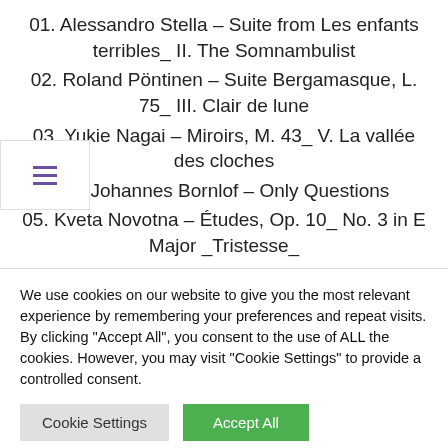01. Alessandro Stella – Suite from Les enfants terribles_ II. The Somnambulist
02. Roland Pöntinen – Suite Bergamasque, L. 75_ III. Clair de lune
03. Yukie Nagai – Miroirs, M. 43_ V. La vallée des cloches
04. Johannes Bornlof – Only Questions
05. Kveta Novotna – Études, Op. 10_ No. 3 in E Major _Tristesse_
We use cookies on our website to give you the most relevant experience by remembering your preferences and repeat visits. By clicking "Accept All", you consent to the use of ALL the cookies. However, you may visit "Cookie Settings" to provide a controlled consent.